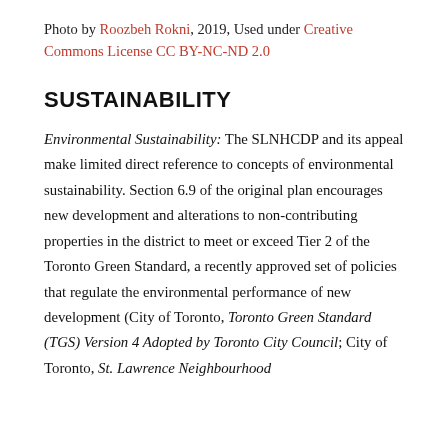Photo by Roozbeh Rokni, 2019, Used under Creative Commons License CC BY-NC-ND 2.0
SUSTAINABILITY
Environmental Sustainability: The SLNHCDP and its appeal make limited direct reference to concepts of environmental sustainability. Section 6.9 of the original plan encourages new development and alterations to non-contributing properties in the district to meet or exceed Tier 2 of the Toronto Green Standard, a recently approved set of policies that regulate the environmental performance of new development (City of Toronto, Toronto Green Standard (TGS) Version 4 Adopted by Toronto City Council; City of Toronto, St. Lawrence Neighbourhood